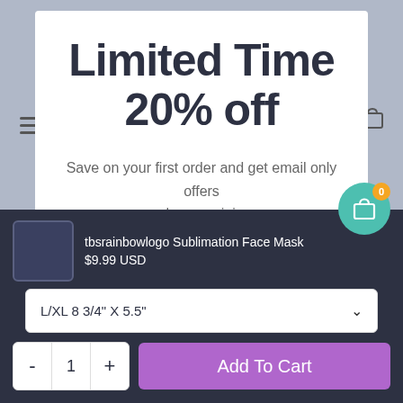Limited Time
20% off
Save on your first order and get email only offers when you join.
tbsrainbowlogo Sublimation Face Mask
$9.99 USD
L/XL 8 3/4" X 5.5"
- 1 +  Add To Cart